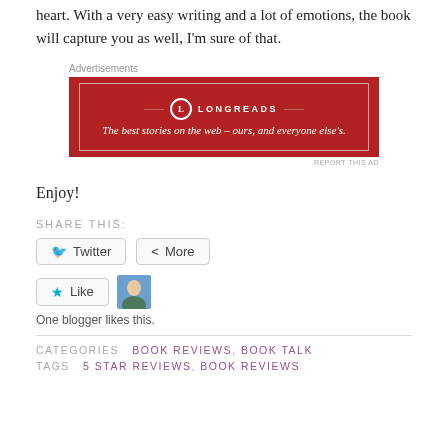heart. With a very easy writing and a lot of emotions, the book will capture you as well, I'm sure of that.
[Figure (other): Longreads advertisement banner: red background with white border, Longreads logo and tagline 'The best stories on the web – ours, and everyone else's.']
Enjoy!
SHARE THIS:
Twitter  More
Like  One blogger likes this.
CATEGORIES  BOOK REVIEWS, BOOK TALK
TAGS  5 STAR REVIEWS, BOOK REVIEWS